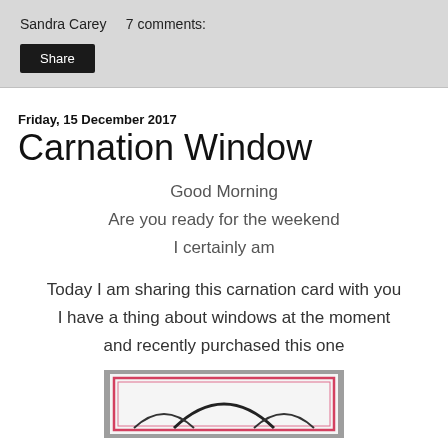Sandra Carey    7 comments:
Share
Friday, 15 December 2017
Carnation Window
Good Morning
Are you ready for the weekend
I certainly am
Today I am sharing this carnation card with you
I have a thing about windows at the moment
and recently purchased this one
[Figure (photo): Partial view of a carnation card featuring a window design with pink/red border lines and a curved dark arc shape on a white background, set against a grey card surround.]